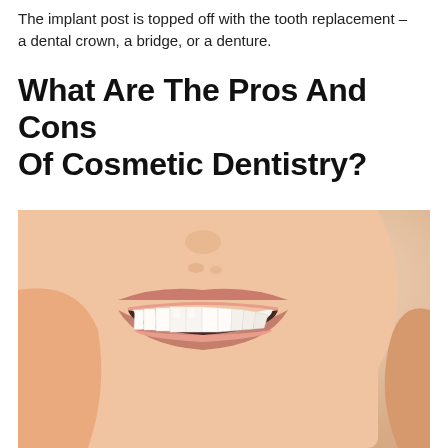The implant post is topped off with the tooth replacement – a dental crown, a bridge, or a denture.
What Are The Pros And Cons Of Cosmetic Dentistry?
[Figure (photo): Close-up photo of a woman's smile showing white teeth and natural lip color against a neutral beige background.]